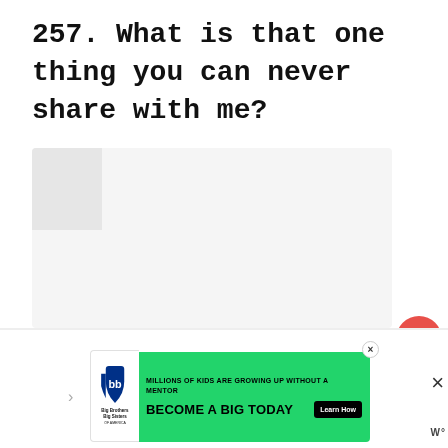257. What is that one thing you can never share with me?
[Figure (other): Large light gray content/answer area below the question title, with a small darker gray box in the top-left corner. Social interaction buttons (heart/like button in coral-red, count '39', share button) on the right side.]
[Figure (other): Advertisement banner at the bottom: Big Brothers Big Sisters logo on left, green banner reading 'MILLIONS OF KIDS ARE GROWING UP WITHOUT A MENTOR' and 'BECOME A BIG TODAY' with a 'Learn How' button. Close X button on top right of ad. Right side shows X button and 'W°' logo.]